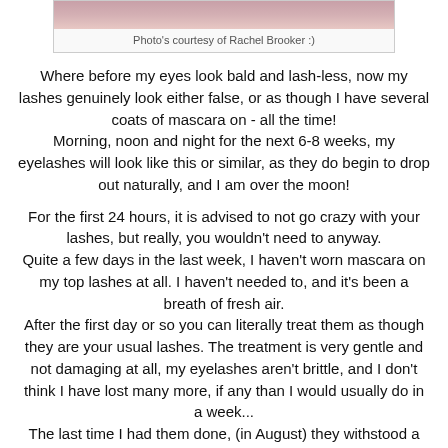[Figure (photo): Cropped photo strip showing close-up of eyes/eyelashes area, pink/skin tones visible at top of page]
Photo's courtesy of Rachel Brooker :)
Where before my eyes look bald and lash-less, now my lashes genuinely look either false, or as though I have several coats of mascara on - all the time! Morning, noon and night for the next 6-8 weeks, my eyelashes will look like this or similar, as they do begin to drop out naturally, and I am over the moon!
For the first 24 hours, it is advised to not go crazy with your lashes, but really, you wouldn't need to anyway. Quite a few days in the last week, I haven't worn mascara on my top lashes at all. I haven't needed to, and it's been a breath of fresh air. After the first day or so you can literally treat them as though they are your usual lashes. The treatment is very gentle and not damaging at all, my eyelashes aren't brittle, and I don't think I have lost many more, if any than I would usually do in a week... The last time I had them done, (in August) they withstood a